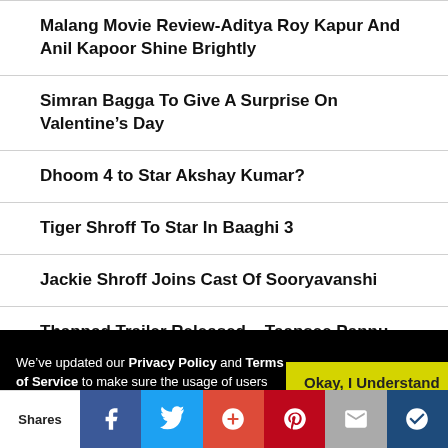Malang Movie Review-Aditya Roy Kapur And Anil Kapoor Shine Brightly
Simran Bagga To Give A Surprise On Valentine’s Day
Dhoom 4 to Star Akshay Kumar?
Tiger Shroff To Star In Baaghi 3
Jackie Shroff Joins Cast Of Sooryavanshi
Thappad Trailer Released – Taapsee Pannu Explores Issue Of
We’ve updated our Privacy Policy and Terms of Service to make sure the usage of users data in a more clearer way. Click "Okay, I
Okay, I Understand
Shares